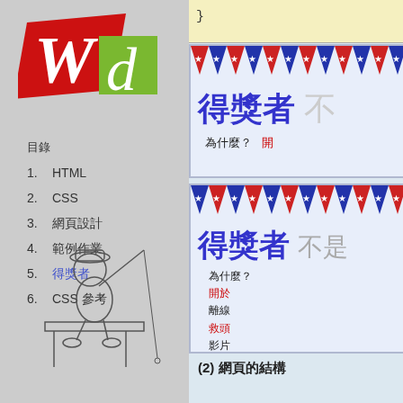[Figure (logo): Wd logo with red W and green d on grey background]
目錄
1. HTML
2. CSS
3. 網頁設計
4. 範例作業
5. 得獎者
6. CSS 參考
[Figure (illustration): Line drawing of a boy fishing while sitting on a dock]
}
[Figure (illustration): Award banner: 得獎者 不 with bunting decoration. 為什麼？ 開...]
[Figure (illustration): Award banner: 得獎者 不是 with full menu: 為什麼？ 開於 離線 救頭 影片 小考]
(2) 網頁的結構